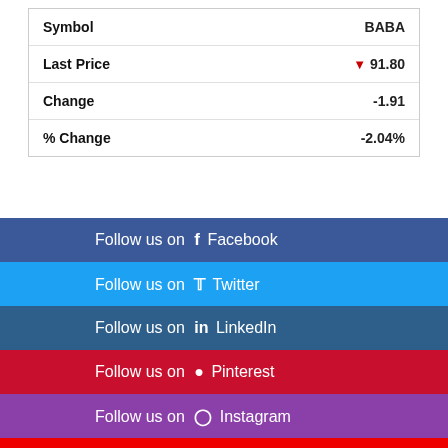|  |  |
| --- | --- |
| Symbol | BABA |
| Last Price | ↓ 91.80 |
| Change | -1.91 |
| % Change | -2.04% |
Follow us on Facebook
Follow us on Twitter
Follow us on LinkedIn
Follow us on Pinterest
Follow us on Instagram
Follow us on YouTube